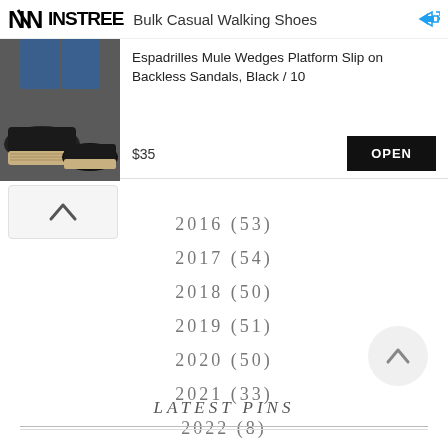[Figure (screenshot): Advertisement banner for NINSTREE Bulk Casual Walking Shoes showing product image of Espadrilles Mule Wedges Platform Slip on Backless Sandals Black/10 priced at $35 with OPEN button]
2016 (53)
2017 (54)
2018 (50)
2019 (51)
2020 (50)
2021 (33)
2022 (8)
LATEST PINS